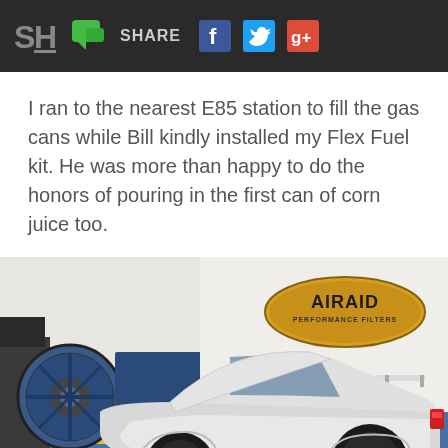SH | Share | Facebook | Twitter | Google+
I ran to the nearest E85 station to fill the gas cans while Bill kindly installed my Flex Fuel kit. He was more than happy to do the honors of pouring in the first can of corn juice too.
[Figure (photo): White Scion FR-S / Toyota 86 sports car on a dynamometer in a garage with the hood open, a large blue fan to the left, and an AIRAID Performance Filters oval logo/sign on the wall in the background.]